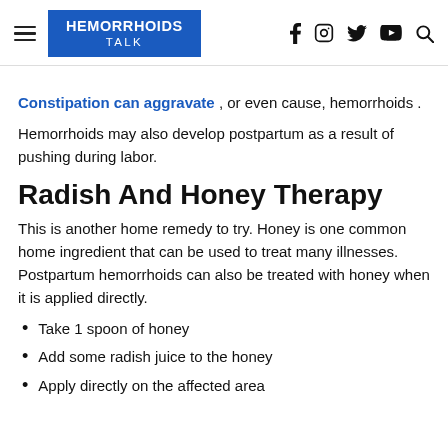HEMORRHOIDS TALK [navigation header with social icons]
Constipation can aggravate , or even cause, hemorrhoids .
Hemorrhoids may also develop postpartum as a result of pushing during labor.
Radish And Honey Therapy
This is another home remedy to try. Honey is one common home ingredient that can be used to treat many illnesses. Postpartum hemorrhoids can also be treated with honey when it is applied directly.
Take 1 spoon of honey
Add some radish juice to the honey
Apply directly on the affected area